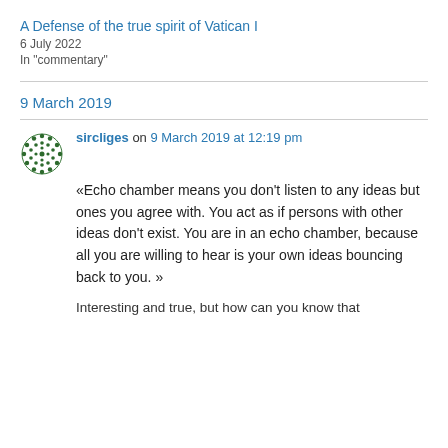A Defense of the true spirit of Vatican I
6 July 2022
In "commentary"
9 March 2019
sircliges on 9 March 2019 at 12:19 pm
«Echo chamber means you don't listen to any ideas but ones you agree with. You act as if persons with other ideas don't exist. You are in an echo chamber, because all you are willing to hear is your own ideas bouncing back to you. »
Interesting and true, but how can you know that